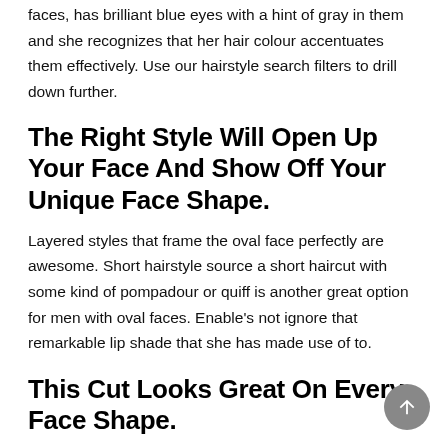faces, has brilliant blue eyes with a hint of gray in them and she recognizes that her hair colour accentuates them effectively. Use our hairstyle search filters to drill down further.
The Right Style Will Open Up Your Face And Show Off Your Unique Face Shape.
Layered styles that frame the oval face perfectly are awesome. Short hairstyle source a short haircut with some kind of pompadour or quiff is another great option for men with oval faces. Enable's not ignore that remarkable lip shade that she has made use of to.
This Cut Looks Great On Every Face Shape.
Horseshoe facial hair for oval face the horseshoe beard features two distinct long bars of facial hair going downwards to your chin. All hair colors, hairstyles, and hair